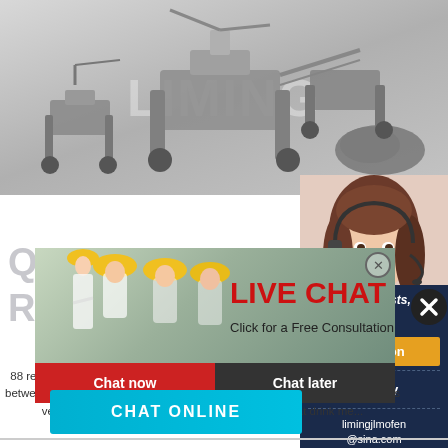[Figure (photo): Industrial mining/crushing machinery on light gray background with LIMING watermark text]
QU
Revie
[Figure (screenshot): Live chat popup overlay with workers in yellow hard hats, LIVE CHAT heading in red, 'Click for a Free Consultation' text, Chat now (red) and Chat later (dark) buttons]
[Figure (photo): Customer service representative woman with headset on right sidebar]
88 reviews of Quarter "This is a new bar in South Sl... very close to my apt between Bodegas and Laundro... here are AMAZING. The owner/bartender is very k... about his drinks and he has created a great drink me...
CHAT ONLINE
ave any requests, click here.
Quotation
Enquiry
limingjlmofen@sina.com